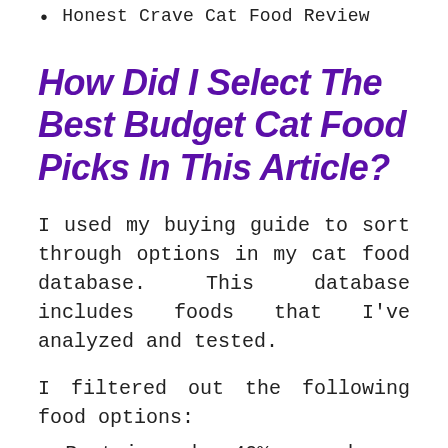Honest Crave Cat Food Review
How Did I Select The Best Budget Cat Food Picks In This Article?
I used my buying guide to sort through options in my cat food database. This database includes foods that I've analyzed and tested.
I filtered out the following food options:
Protein under 40% on a dry matter basis